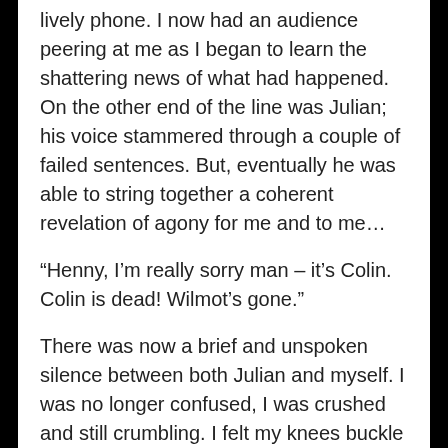lively phone. I now had an audience peering at me as I began to learn the shattering news of what had happened. On the other end of the line was Julian; his voice stammered through a couple of failed sentences. But, eventually he was able to string together a coherent revelation of agony for me and to me…
“Henny, I’m really sorry man – it’s Colin. Colin is dead! Wilmot’s gone.”
There was now a brief and unspoken silence between both Julian and myself. I was no longer confused, I was crushed and still crumbling. I felt my knees buckle and vibrate as if to have been beams hit by a hammer. I am not even sure if I said goodbye to Julian before releasing the phone from my ear. All I recall was placing the phone down on the counter and taking a moment while unwittingly